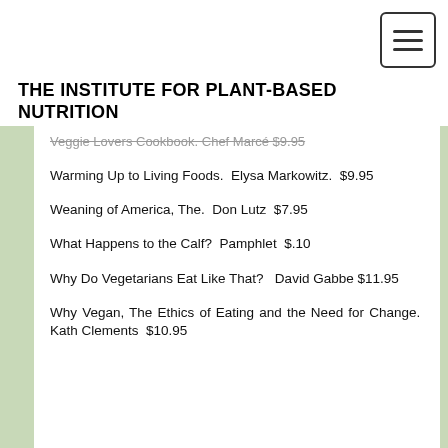THE INSTITUTE FOR PLANT-BASED NUTRITION
Veggie Lovers Cookbook. Chef Marcel $9.95
Warming Up to Living Foods. Elysa Markowitz. $9.95
Weaning of America, The. Don Lutz $7.95
What Happens to the Calf? Pamphlet $.10
Why Do Vegetarians Eat Like That? David Gabbe $11.95
Why Vegan, The Ethics of Eating and the Need for Change. Kath Clements $10.95